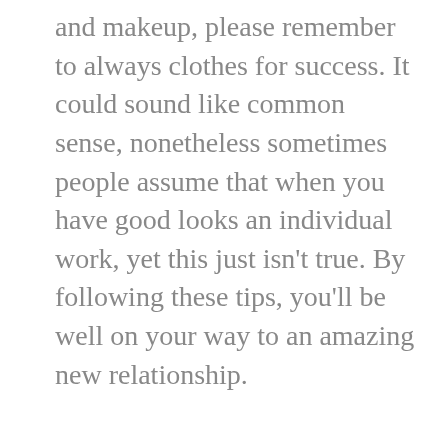and makeup, please remember to always clothes for success. It could sound like common sense, nonetheless sometimes people assume that when you have good looks an individual work, yet this just isn't true. By following these tips, you'll be well on your way to an amazing new relationship.